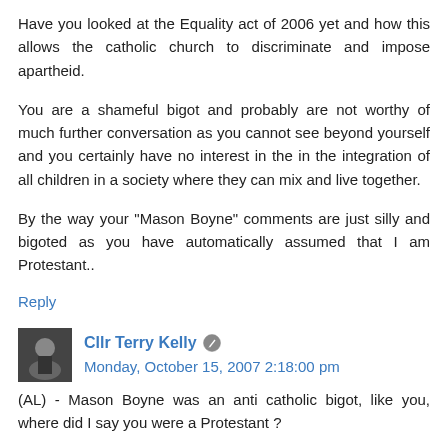Have you looked at the Equality act of 2006 yet and how this allows the catholic church to discriminate and impose apartheid.
You are a shameful bigot and probably are not worthy of much further conversation as you cannot see beyond yourself and you certainly have no interest in the in the integration of all children in a society where they can mix and live together.
By the way your "Mason Boyne" comments are just silly and bigoted as you have automatically assumed that I am Protestant..
Reply
Cllr Terry Kelly  Monday, October 15, 2007 2:18:00 pm
(AL) - Mason Boyne was an anti catholic bigot, like you, where did I say you were a Protestant ?